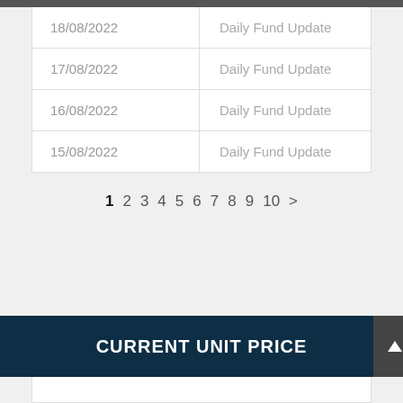| Date | Description |
| --- | --- |
| 18/08/2022 | Daily Fund Update |
| 17/08/2022 | Daily Fund Update |
| 16/08/2022 | Daily Fund Update |
| 15/08/2022 | Daily Fund Update |
1 2 3 4 5 6 7 8 9 10 >
CURRENT UNIT PRICE